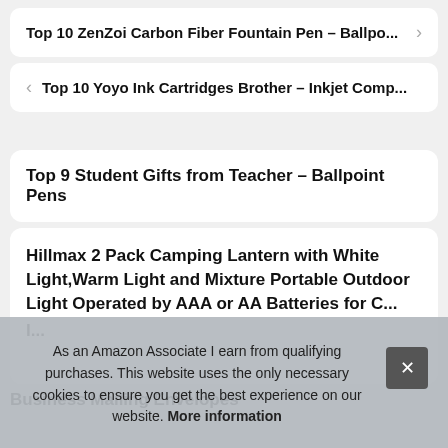Top 10 ZenZoi Carbon Fiber Fountain Pen – Ballpo...
Top 10 Yoyo Ink Cartridges Brother – Inkjet Comp...
Top 9 Student Gifts from Teacher – Ballpoint Pens
Hillmax 2 Pack Camping Lantern with White Light,Warm Light and Mixture Portable Outdoor Light Operated by AAA or AA Batteries for C... I...
Business Mailing Envelopes
As an Amazon Associate I earn from qualifying purchases. This website uses the only necessary cookies to ensure you get the best experience on our website. More information